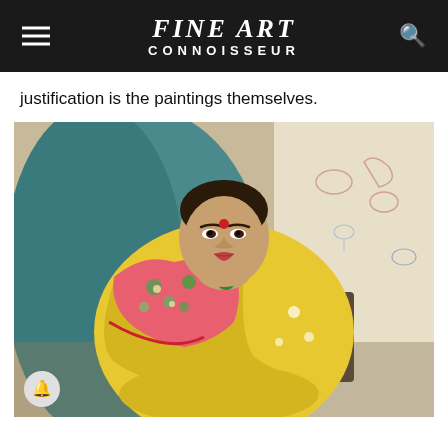FINE ART CONNOISSEUR
justification is the paintings themselves.
[Figure (photo): Oil painting portrait of an Indian woman seated, wearing a yellow sari and a red and green floral shawl, with a red bindi on her forehead, hands clasped in her lap, against a backdrop of blue and light fabric with floral motifs.]